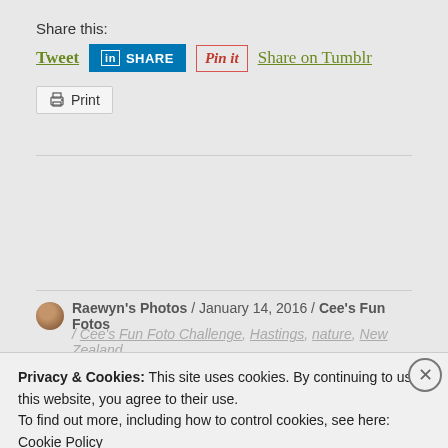Share this:
Tweet  SHARE  Pin it  Share on Tumblr  Print
Raewyn's Photos / January 14, 2016 / Cee's Fun Fotos
/ Cee's Fun Foto Challenge, Hastings, nature, New Zealand
Privacy & Cookies: This site uses cookies. By continuing to use this website, you agree to their use. To find out more, including how to control cookies, see here: Cookie Policy
Close and accept